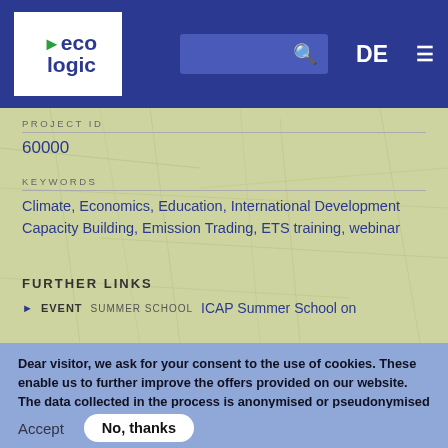[Figure (logo): Ecologic Institute logo with green arrow and blue text on white background, in dark blue navigation bar with search box, DE language option, and hamburger menu]
PROJECT ID
60000
KEYWORDS
Climate, Economics, Education, International Development Capacity Building, Emission Trading, ETS training, webinar
FURTHER LINKS
EVENT SUMMER SCHOOL ICAP Summer School on
Dear visitor, we ask for your consent to the use of cookies. These enable us to further improve the offers provided on our website. The data collected in the process is anonymised or pseudonymised and is neither passed on nor combined with other data. You can find more details on this in our data protection declaration
Accept
No, thanks